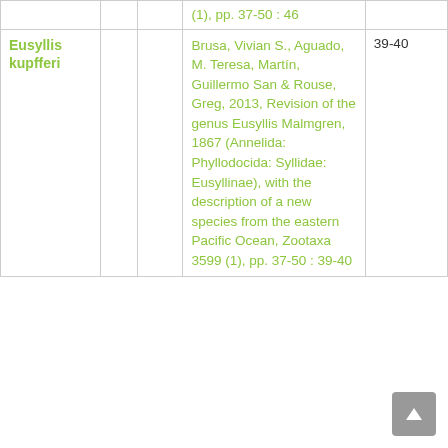|  |  |  | (1), pp. 37-50 : 46 |  |
| Eusyllis kupfferi |  |  | Brusa, Vivian S., Aguado, M. Teresa, Martín, Guillermo San & Rouse, Greg, 2013, Revision of the genus Eusyllis Malmgren, 1867 (Annelida: Phyllodocida: Syllidae: Eusyllinae), with the description of a new species from the eastern Pacific Ocean, Zootaxa 3599 (1), pp. 37-50 : 39-40 | 39-40 |